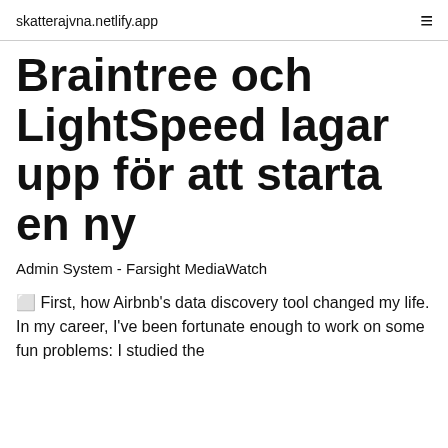skatterajvna.netlify.app
Braintree och LightSpeed lagar upp för att starta en ny
Admin System - Farsight MediaWatch
🔲 First, how Airbnb's data discovery tool changed my life. In my career, I've been fortunate enough to work on some fun problems: I studied the